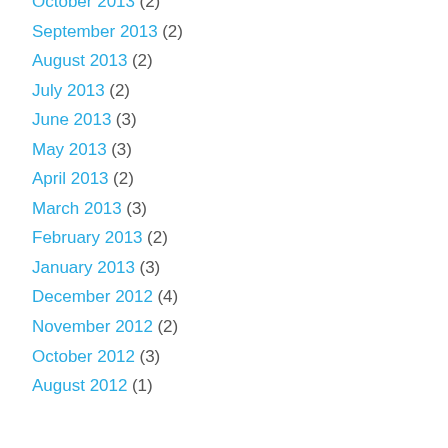October 2013 (2)
September 2013 (2)
August 2013 (2)
July 2013 (2)
June 2013 (3)
May 2013 (3)
April 2013 (2)
March 2013 (3)
February 2013 (2)
January 2013 (3)
December 2012 (4)
November 2012 (2)
October 2012 (3)
August 2012 (1)